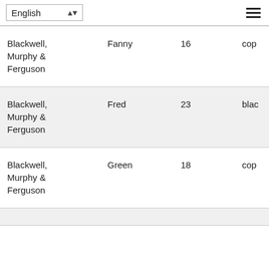English [dropdown] [menu]
| Firm | Name | Age | Type |
| --- | --- | --- | --- |
| Blackwell, Murphy & Ferguson | Fanny | 16 | cop |
| Blackwell, Murphy & Ferguson | Fred | 23 | blac |
| Blackwell, Murphy & Ferguson | Green | 18 | cop |